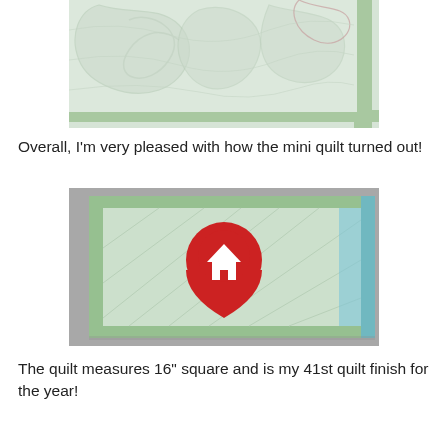[Figure (photo): Close-up photo of a mini quilt with light green border and quilted fabric showing leaf-like patterns in white/grey tones.]
Overall, I'm very pleased with how the mini quilt turned out!
[Figure (photo): Photo of a mini quilt with light green border showing a red map pin/location marker appliqué with a white house icon, and blue elements visible at the right edge.]
The quilt measures 16" square and is my 41st quilt finish for the year!